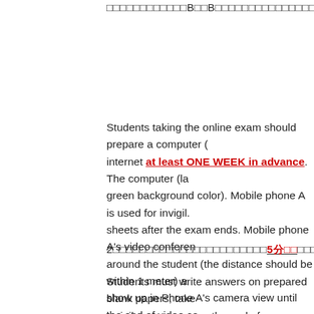（Chinese text）…B　　B…A…（truncated at right edge）
Students taking the online exam should prepare a computer (with internet at least ONE WEEK in advance. The computer (la… green background color). Mobile phone A is used for invigil… sheets after the exam ends. Mobile phone A's video conferen… around the student (the distance should be within 1 meter) a… show up in Phone A's camera view until the end of video co… answer sheet. Anything unrelated with the exam shouldn't b…
2…（Chinese text）5分钟…（truncated at right edge）
Students must write answers on prepared blank papers, take… invigilator announces the end of exam. Late submission with… leave the seat and must keep the video conference on before…